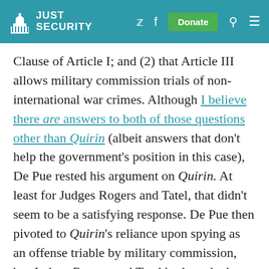Just Security
Clause of Article I; and (2) that Article III allows military commission trials of non-international war crimes. Although I believe there are answers to both of those questions other than Quirin (albeit answers that don't help the government's position in this case), De Pue rested his argument on Quirin. At least for Judges Rogers and Tatel, that didn't seem to be a satisfying response. De Pue then pivoted to Quirin's reliance upon spying as an offense triable by military commission, but Judges Rogers and Tatel both pushed back with language in Quirin suggesting to the contrary...